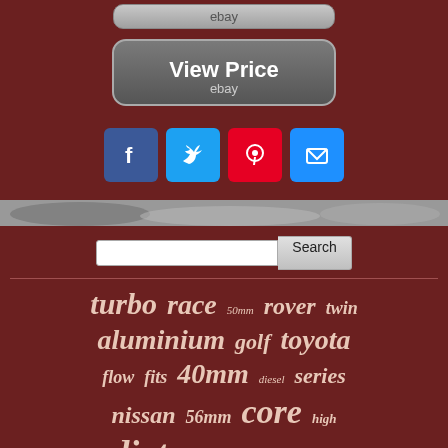[Figure (screenshot): eBay top button (gray rounded rectangle with 'ebay' text)]
[Figure (screenshot): View Price button with 'ebay' subtitle on dark brown background]
[Figure (infographic): Social sharing buttons: Facebook (blue), Twitter (blue), Pinterest (red), Email (blue)]
[Figure (photo): Partial photo strip showing a radiator or car part in grayscale]
[Figure (infographic): Search bar with text input and Search button]
turbo race 50mm rover twin aluminium golf toyota flow fits 40mm diesel series nissan 56mm core high radiator engine escort vauxhall